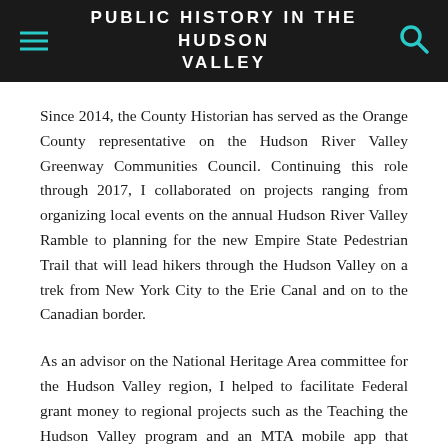PUBLIC HISTORY IN THE HUDSON VALLEY
Since 2014, the County Historian has served as the Orange County representative on the Hudson River Valley Greenway Communities Council. Continuing this role through 2017, I collaborated on projects ranging from organizing local events on the annual Hudson River Valley Ramble to planning for the new Empire State Pedestrian Trail that will lead hikers through the Hudson Valley on a trek from New York City to the Erie Canal and on to the Canadian border.
As an advisor on the National Heritage Area committee for the Hudson Valley region, I helped to facilitate Federal grant money to regional projects such as the Teaching the Hudson Valley program and an MTA mobile app that provides historical and environmental context to passengers as they ride the Hudson Line train along the route from Grand Central Terminal to Poughkeepsie. The MTA app...